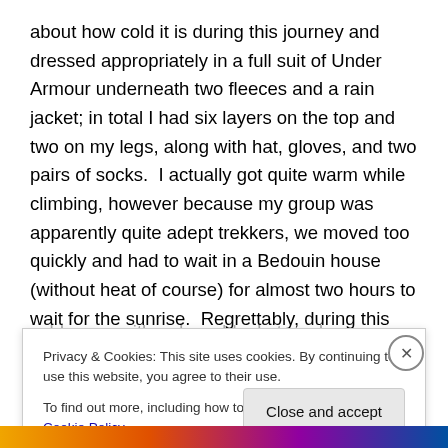about how cold it is during this journey and dressed appropriately in a full suit of Under Armour underneath two fleeces and a rain jacket; in total I had six layers on the top and two on my legs, along with hat, gloves, and two pairs of socks.  I actually got quite warm while climbing, however because my group was apparently quite adept trekkers, we moved too quickly and had to wait in a Bedouin house (without heat of course) for almost two hours to wait for the sunrise.  Regrettably, during this time, just sitting around in sub-zero temperatures, I got quite cold, even with a down blanket, and never quite
Privacy & Cookies: This site uses cookies. By continuing to use this website, you agree to their use.
To find out more, including how to control cookies, see here: Cookie Policy